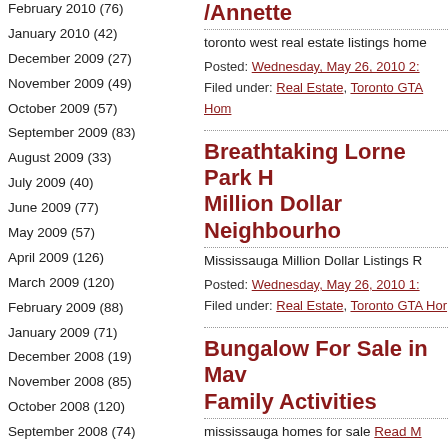February 2010 (76)
January 2010 (42)
December 2009 (27)
November 2009 (49)
October 2009 (57)
September 2009 (83)
August 2009 (33)
July 2009 (40)
June 2009 (77)
May 2009 (57)
April 2009 (126)
March 2009 (120)
February 2009 (88)
January 2009 (71)
December 2008 (19)
November 2008 (85)
October 2008 (120)
September 2008 (74)
/Annette
toronto west real estate listings home
Posted: Wednesday, May 26, 2010 2: | Filed under: Real Estate, Toronto GTA Hom
Breathtaking Lorne Park H Million Dollar Neighbourho
Mississauga Million Dollar Listings R
Posted: Wednesday, May 26, 2010 1: | Filed under: Real Estate, Toronto GTA Hor
Bungalow For Sale in Mav Family Activities
mississauga homes for sale Read M
Posted: Wednesday, May 26, 2010 11 | Filed under: Real Estate, Toronto GTA Hor